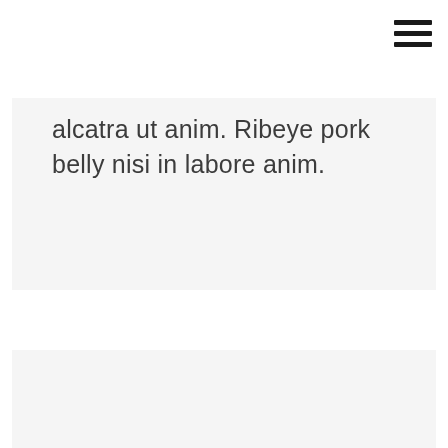[hamburger menu icon]
alcatra ut anim. Ribeye pork belly nisi in labore anim.
[Figure (other): Empty light gray rectangular block at the bottom of the page]